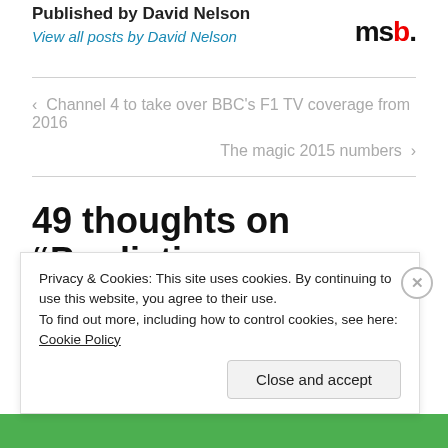Published by David Nelson
View all posts by David Nelson
msb.
< Channel 4 to take over BBC's F1 TV coverage from 2016
The magic 2015 numbers >
49 thoughts on “Predicting
Privacy & Cookies: This site uses cookies. By continuing to use this website, you agree to their use.
To find out more, including how to control cookies, see here: Cookie Policy
Close and accept